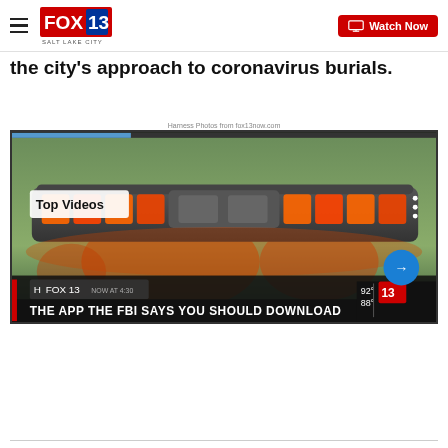FOX 13 SALT LAKE CITY — Watch Now
the city's approach to coronavirus burials.
Harness Photos from fox13now.com
[Figure (screenshot): Fox 13 video player screenshot showing police emergency lights on a vehicle. Overlay text reads 'Top Videos' and lower banner reads 'THE APP THE FBI SAYS YOU SHOULD DOWNLOAD'. Temperature shows 92°/88°. A blue arrow button appears at bottom right.]